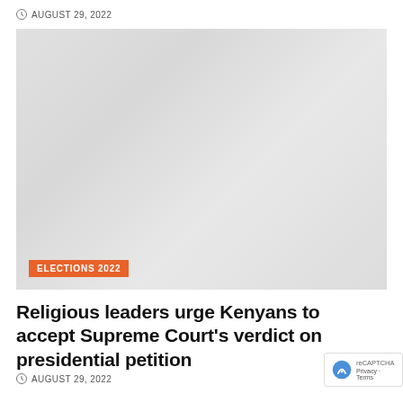AUGUST 29, 2022
[Figure (photo): A light gray/white faded image placeholder with an orange 'ELECTIONS 2022' tag in the lower left corner]
ELECTIONS 2022
Religious leaders urge Kenyans to accept Supreme Court's verdict on presidential petition
AUGUST 29, 2022